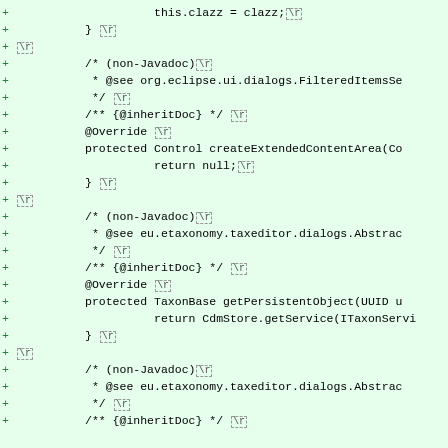[Figure (screenshot): Code diff view showing Java source code additions (lines prefixed with +) on a green background. Contains method implementations including createExtendedContentArea and getPersistentObject methods with Javadoc comments and @Override annotations.]